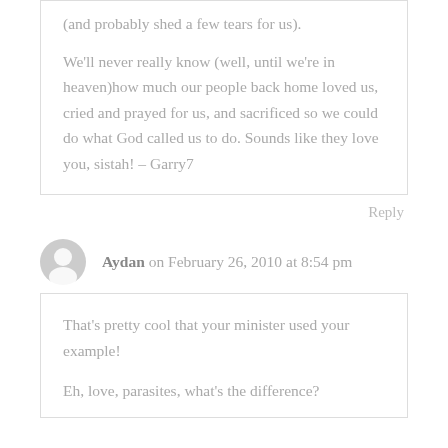(and probably shed a few tears for us).

We'll never really know (well, until we're in heaven)how much our people back home loved us, cried and prayed for us, and sacrificed so we could do what God called us to do. Sounds like they love you, sistah! – Garry7
Reply
Aydan on February 26, 2010 at 8:54 pm
That's pretty cool that your minister used your example!

Eh, love, parasites, what's the difference?